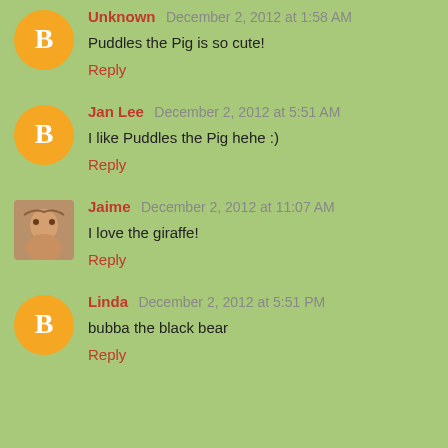Unknown December 2, 2012 at 1:58 AM
Puddles the Pig is so cute!
Reply
Jan Lee December 2, 2012 at 5:51 AM
I like Puddles the Pig hehe :)
Reply
Jaime December 2, 2012 at 11:07 AM
I love the giraffe!
Reply
Linda December 2, 2012 at 5:51 PM
bubba the black bear
Reply